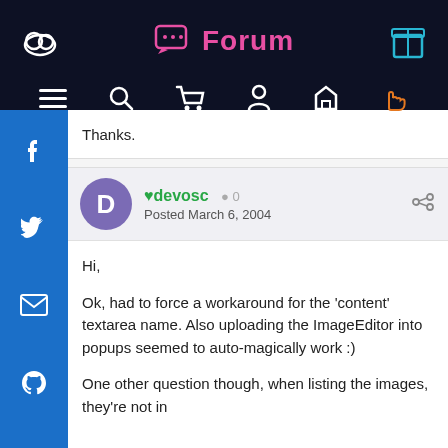Forum
Thanks.
♥devosc  0
Posted March 6, 2004
Hi,

Ok, had to force a workaround for the 'content' textarea name. Also uploading the ImageEditor into popups seemed to auto-magically work :)

One other question though, when listing the images, they're not in